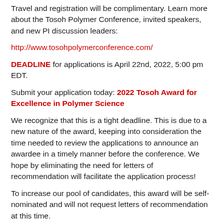Travel and registration will be complimentary. Learn more about the Tosoh Polymer Conference, invited speakers, and new PI discussion leaders:
http://www.tosohpolymerconference.com/
DEADLINE for applications is April 22nd, 2022, 5:00 pm EDT.
Submit your application today: 2022 Tosoh Award for Excellence in Polymer Science
We recognize that this is a tight deadline. This is due to a new nature of the award, keeping into consideration the time needed to review the applications to announce an awardee in a timely manner before the conference. We hope by eliminating the need for letters of recommendation will facilitate the application process!
To increase our pool of candidates, this award will be self-nominated and will not request letters of recommendation at this time.
Note: We will accommodate time periods for those who took leave during the first ten years of their tenure-track research position. Briefly explain if you are outside of the ten-year window.